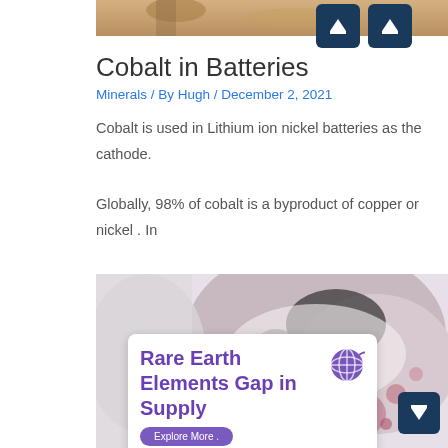[Figure (photo): Top portion of article page showing a brown/tan mineral or rock surface photo at the top]
Cobalt in Batteries
Minerals / By Hugh / December 2, 2021
Cobalt is used in Lithium ion nickel batteries as the cathode. Globally, 98% of cobalt is a byproduct of copper or nickel . In copper…
Read More »
[Figure (photo): Photo of a pink and black mineral rock (likely eudialyte or similar rare earth mineral) with a white overlay card showing 'Rare Earth Elements Gap in Supply' text and an Explore More button with a purple globe icon]